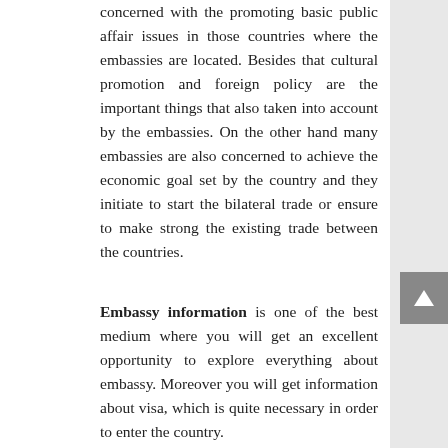concerned with the promoting basic public affair issues in those countries where the embassies are located. Besides that cultural promotion and foreign policy are the important things that also taken into account by the embassies. On the other hand many embassies are also concerned to achieve the economic goal set by the country and they initiate to start the bilateral trade or ensure to make strong the existing trade between the countries.
Embassy information is one of the best medium where you will get an excellent opportunity to explore everything about embassy. Moreover you will get information about visa, which is quite necessary in order to enter the country.
If you are anxious to making your way for a trip to United States, You need to first collect visa from US embassy. But the important question arises here how to get it, where should get from, who will provide? You